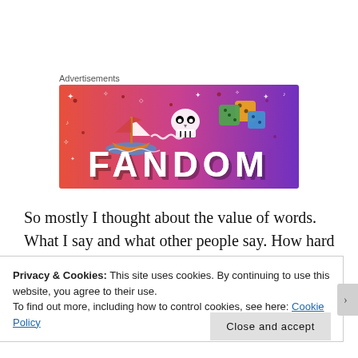Advertisements
[Figure (illustration): Fandom advertisement banner with orange-to-purple gradient background, featuring a cartoon sailboat, skull, dice, and the word FANDOM in large block letters with decorative icons and sparkles]
So mostly I thought about the value of words. What I say and what other people say. How hard it is to say some things, but how necessary. How easy it is to be
Privacy & Cookies: This site uses cookies. By continuing to use this website, you agree to their use.
To find out more, including how to control cookies, see here: Cookie Policy
Close and accept